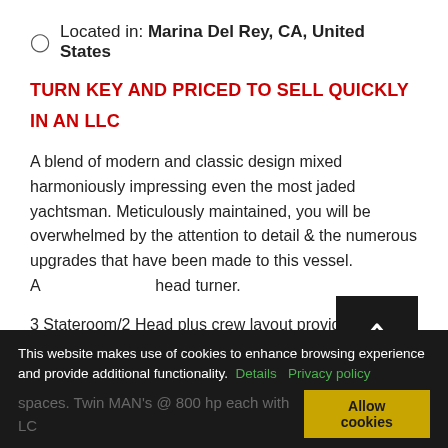Located in: Marina Del Rey, CA, United States
TURN KEY AND PRICED TO SELL QUICKLY
IN AN LLC
A blend of modern and classic design mixed harmoniously impressing even the most jaded yachtsman. Meticulously maintained, you will be overwhelmed by the attention to detail & the numerous upgrades that have been made to this vessel. A head turner.
3 Stateroom/2 Head plus crew layout provide comfortable accommodations. Spacious salon,
spaces. Twin MAN's @ 800 hp each with LC
This website makes use of cookies to enhance browsing experience and provide additional functionality. Details Privacy policy Allow cookies